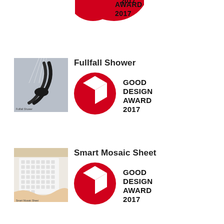[Figure (logo): Good Design Award 2017 logo (partial, top of page)]
[Figure (photo): Fullfall Shower product photo showing a dark handheld shower head with water spray]
Fullfall Shower
[Figure (logo): Good Design Award 2017 logo]
[Figure (photo): Smart Mosaic Sheet product photo showing hands holding a white mosaic tile sheet]
Smart Mosaic Sheet
[Figure (logo): Good Design Award 2017 logo]